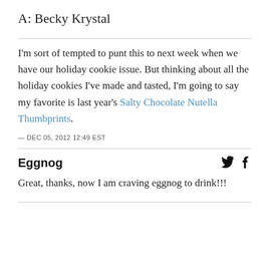A: Becky Krystal
I'm sort of tempted to punt this to next week when we have our holiday cookie issue. But thinking about all the holiday cookies I've made and tasted, I'm going to say my favorite is last year's Salty Chocolate Nutella Thumbprints.
— DEC 05, 2012 12:49 EST
Eggnog
Great, thanks, now I am craving eggnog to drink!!!